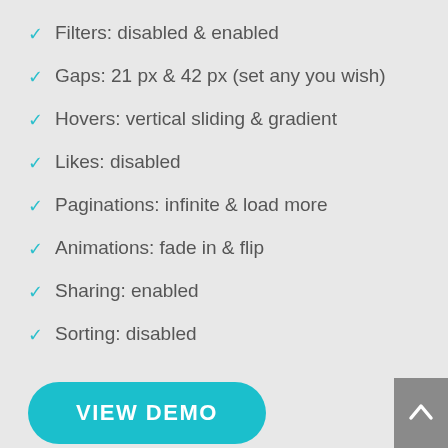Filters: disabled & enabled
Gaps: 21 px & 42 px (set any you wish)
Hovers: vertical sliding & gradient
Likes: disabled
Paginations: infinite & load more
Animations: fade in & flip
Sharing: enabled
Sorting: disabled
VIEW DEMO
[Figure (other): Scroll to top button with upward chevron arrow on grey background, bottom-right corner]